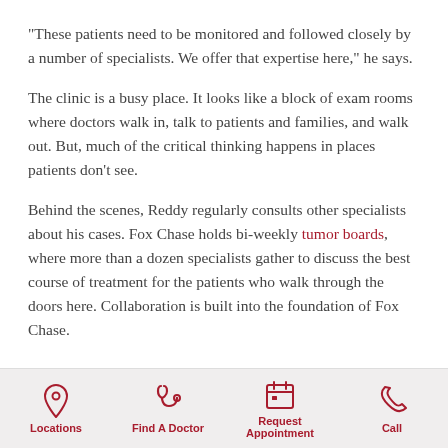“These patients need to be monitored and followed closely by a number of specialists. We offer that expertise here,” he says.
The clinic is a busy place. It looks like a block of exam rooms where doctors walk in, talk to patients and families, and walk out. But, much of the critical thinking happens in places patients don’t see.
Behind the scenes, Reddy regularly consults other specialists about his cases. Fox Chase holds bi-weekly tumor boards, where more than a dozen specialists gather to discuss the best course of treatment for the patients who walk through the doors here. Collaboration is built into the foundation of Fox Chase.
Locations | Find A Doctor | Request Appointment | Call